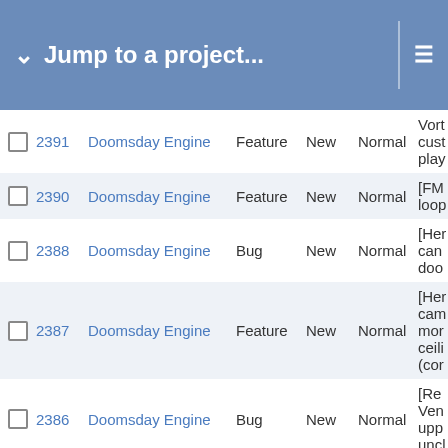Jump to a project...
|  | # | Project | Type | Status | Priority | Subject |
| --- | --- | --- | --- | --- | --- | --- |
|  | 2391 | Doomsday Engine | Feature | New | Normal | Vort cust play |
|  | 2390 | Doomsday Engine | Feature | New | Normal | [FM loop |
|  | 2388 | Doomsday Engine | Bug | New | Normal | [Her can doo |
|  | 2387 | Doomsday Engine | Feature | New | Normal | [Her cam mor ceili (cor |
|  | 2386 | Doomsday Engine | Bug | New | Normal | [Re Ven upp uncl |
|  | 2385 | Doomsday Engine | Bug | New | Normal | [Her one |
|  | 2383 | Doomsday Engine | Feature | New | Normal | Ster com |
|  |  |  |  |  |  | Rec |